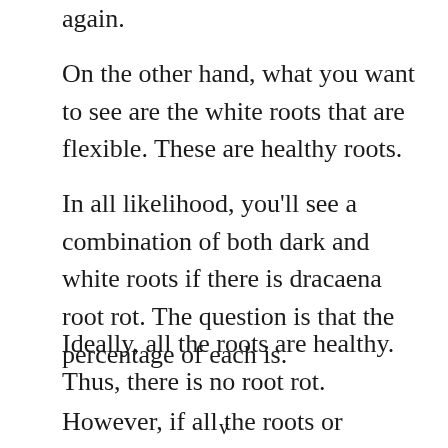again.
On the other hand, what you want to see are the white roots that are flexible. These are healthy roots.
In all likelihood, you'll see a combination of both dark and white roots if there is dracaena root rot. The question is that the percentage of each is.
Ideally, all the roots are healthy. Thus, there is no root rot.
However, if all the roots or almost all the roots are
v